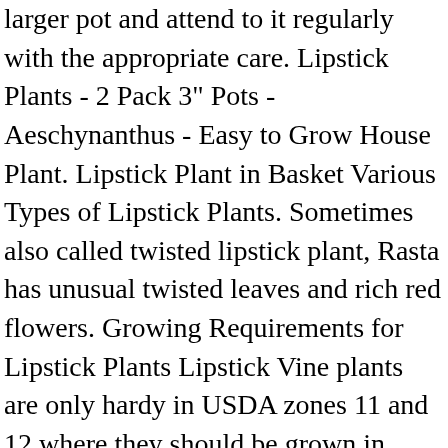larger pot and attend to it regularly with the appropriate care. Lipstick Plants - 2 Pack 3" Pots - Aeschynanthus - Easy to Grow House Plant. Lipstick Plant in Basket Various Types of Lipstick Plants. Sometimes also called twisted lipstick plant, Rasta has unusual twisted leaves and rich red flowers. Growing Requirements for Lipstick Plants Lipstick Vine plants are only hardy in USDA zones 11 and 12 where they should be grown in partial shade. Hoya Hindu Rope/Krinkle Kurl Read More. The Aeschynanthus lipstick vine has pointy, waxy leaves and blooms with bright clusters of flowers. 99. to help it blossom as much as possible. All Rights Reserved. The lipstick plant grows well in warm and humid areas. If you can offer them the proper conditions, lipstick plants will grow abundantly. Be sure to treat the plant with a fungicide